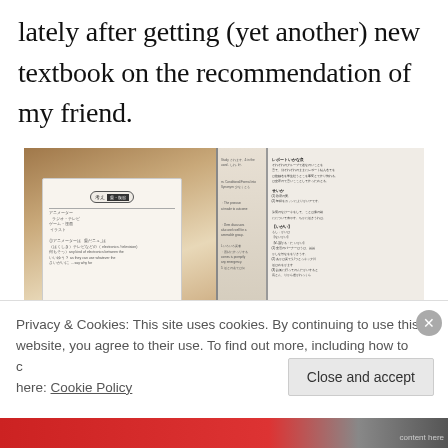lately after getting (yet another) new textbook on the recommendation of my friend.
[Figure (photo): Photo of open Japanese language textbooks and a notebook with handwritten notes, placed on a wooden surface.]
Privacy & Cookies: This site uses cookies. By continuing to use this website, you agree to their use. To find out more, including how to control cookies, see here: Cookie Policy
Close and accept